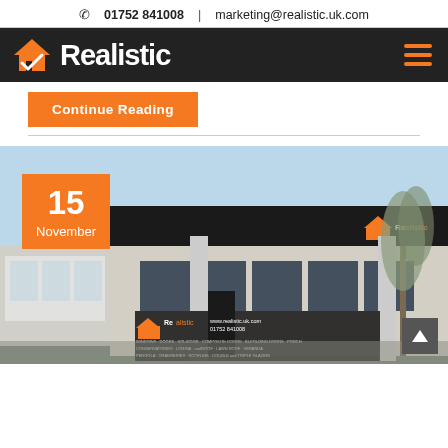01752 841008  |  marketing@realistic.uk.com
[Figure (logo): Realistic logo with orange house checkmark icon and white bold text on dark background, with orange hamburger menu icon on right]
Continue Reading
[Figure (photo): Exterior photo of Realistic showroom building with dark signage showing the Realistic logo and text: www.realistic.uk.com, 01752 841008, WINDOWS, DOORS, SOLIDOOR, COMPOSITE DOORS, BI-FOLDING DOORS, PORCH, CONSERVATORIES, LOGGIA, roofROOF, LAWN ROOF, VERANDA, PERGOLA, ORANGERIES, ROOFLINE, DOUBLE and TRIPLE GLAZING. Orange date badge showing 15 November overlaid on top left. Scroll-to-top button in bottom right.]